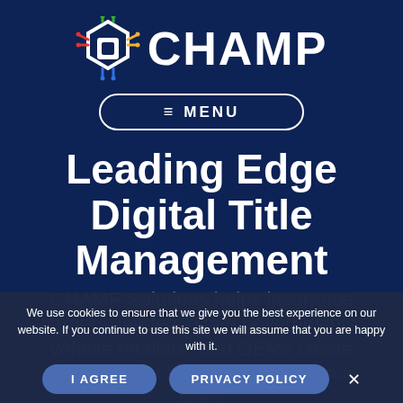[Figure (logo): CHAMP logo: colorful circuit-board style hexagon icon with the word CHAMP in large bold white text]
≡  MENU
Leading Edge Digital Title Management
CHAMP Solutions helps insurance carriers, lenders, state governments, vehicle retailers, and OEMs create manage, and transfer digital vehicle titles.
We use cookies to ensure that we give you the best experience on our website. If you continue to use this site we will assume that you are happy with it.
I AGREE
PRIVACY POLICY